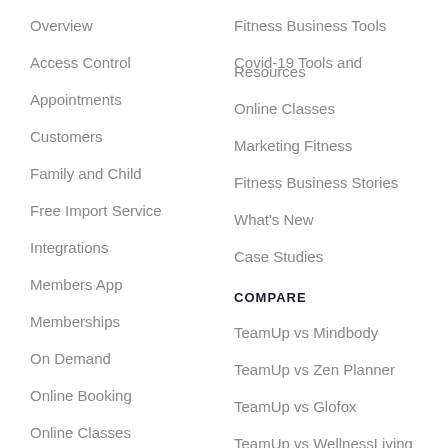Overview
Access Control
Appointments
Customers
Family and Child
Free Import Service
Integrations
Members App
Memberships
On Demand
Online Booking
Online Classes
Payments
Reports
Fitness Business Tools
Covid-19 Tools and Resources
Online Classes
Marketing Fitness
Fitness Business Stories
What's New
Case Studies
COMPARE
TeamUp vs Mindbody
TeamUp vs Zen Planner
TeamUp vs Glofox
TeamUp vs WellnessLiving
TeamUp vs Virtuagym